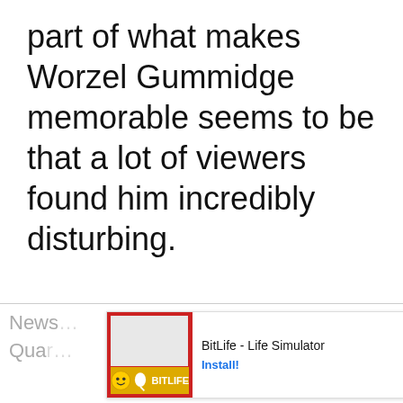part of what makes Worzel Gummidge memorable seems to be that a lot of viewers found him incredibly disturbing.
News... ing remake inspired a Quar... ich discusses de
[Figure (other): Advertisement overlay: BitLife - Life Simulator app ad with red background, emoji graphic, and Install! button]